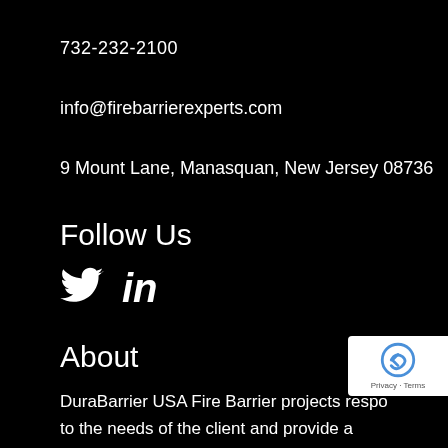732-232-2100
info@firebarrierexperts.com
9 Mount Lane, Manasquan, New Jersey 08736
Follow Us
[Figure (illustration): Twitter bird icon and LinkedIn 'in' icon side by side in white on black background]
About
DuraBarrier USA Fire Barrier projects respo to the needs of the client and provide a
[Figure (illustration): Google reCAPTCHA badge with privacy and terms text]